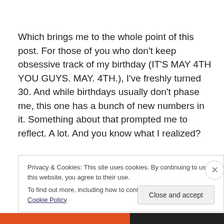Which brings me to the whole point of this post. For those of you who don't keep obsessive track of my birthday (IT'S MAY 4TH YOU GUYS. MAY. 4TH.), I've freshly turned 30. And while birthdays usually don't phase me, this one has a bunch of new numbers in it. Something about that prompted me to reflect. A lot. And you know what I realized?
Privacy & Cookies: This site uses cookies. By continuing to use this website, you agree to their use.
To find out more, including how to control cookies, see here: Cookie Policy